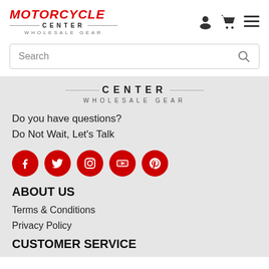[Figure (logo): Motorcycle Center Wholesale Gear logo with red italic MOTORCYCLE text and CENTER/WHOLESALE GEAR below in spaced lettering]
[Figure (illustration): Header icons: user profile silhouette, shopping cart, hamburger menu]
Search
[Figure (logo): CENTER WHOLESALE GEAR logo in footer area with horizontal divider lines]
Do you have questions?
Do Not Wait, Let's Talk
[Figure (infographic): Social media icons: Facebook, Twitter, Instagram, YouTube, Pinterest — all red circles with white icons]
ABOUT US
Terms & Conditions
Privacy Policy
CUSTOMER SERVICE